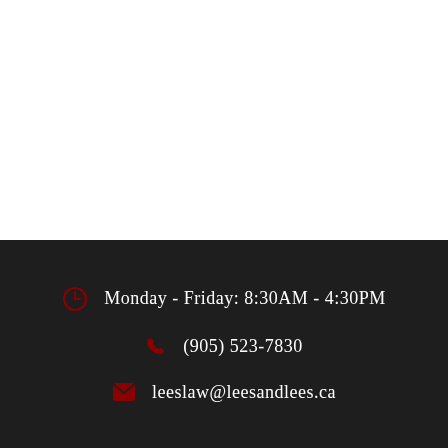Monday - Friday: 8:30AM - 4:30PM
(905) 523-7830
leeslaw@leesandlees.ca